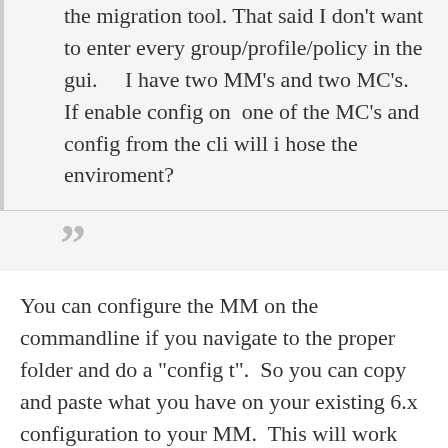the migration tool. That said I don't want to enter every group/profile/policy in the gui.     I have two MM's and two MC's. If enable config on  one of the MC's and config from the cli will i hose the enviroment?
”
You can configure the MM on the commandline if you navigate to the proper folder and do a "config t".  So you can copy and paste what you have on your existing 6.x configuration to your MM.  This will work best for certain constructs more than others.